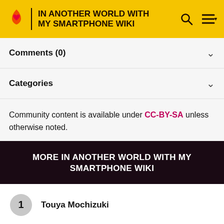IN ANOTHER WORLD WITH MY SMARTPHONE WIKI
Comments (0)
Categories
Community content is available under CC-BY-SA unless otherwise noted.
MORE IN ANOTHER WORLD WITH MY SMARTPHONE WIKI
1 Touya Mochizuki
2 Touya Mochizuki/Relationships